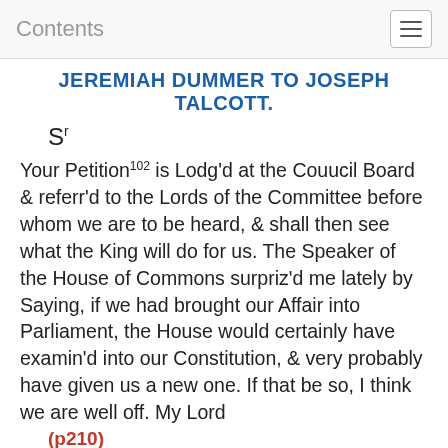Contents
JEREMIAH DUMMER TO JOSEPH TALCOTT.
Sʳ
Your Petition¹°² is Lodg’d at the Couucil Board & referr’d to the Lords of the Committee before whom we are to be heard, & shall then see what the King will do for us. The Speaker of the House of Commons surpriz’d me lately by Saying, if we had brought our Affair into Parliament, the House would certainly have examin’d into our Constitution, & very probably have given us a new one. If that be so, I think we are well off. My Lord
(p210)
Townsend is gone into Norfolk for a fortnight, & there will be no Committee till